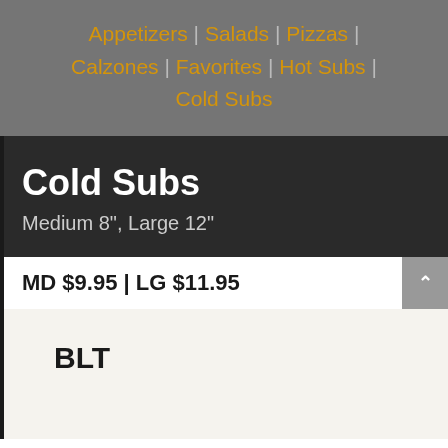Appetizers | Salads | Pizzas | Calzones | Favorites | Hot Subs | Cold Subs
Cold Subs
Medium 8", Large 12"
MD $9.95 | LG $11.95
BLT